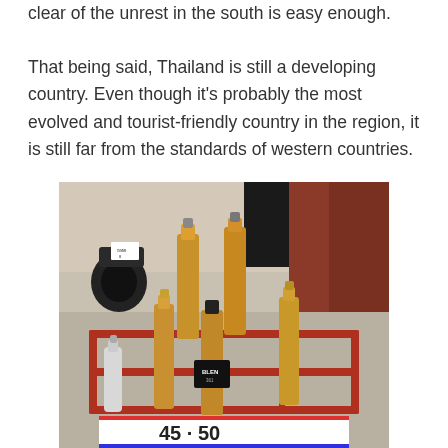clear of the unrest in the south is easy enough.

That being said, Thailand is still a developing country. Even though it's probably the most evolved and tourist-friendly country in the region, it is still far from the standards of western countries.
[Figure (photo): Photo of several amber-colored bottles of alcohol arranged on a red metal cart/rack outside, with a motorcycle visible in the background. A price sign at the bottom shows '45 · 50'.]